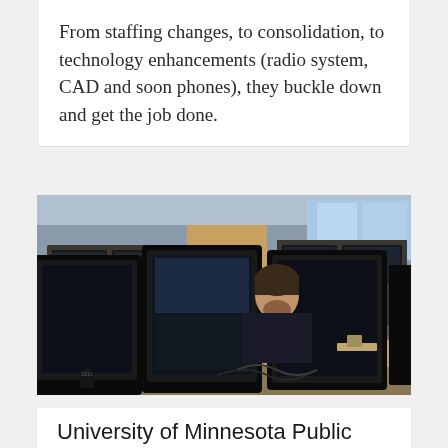From staffing changes, to consolidation, to technology enhancements (radio system, CAD and soon phones), they buckle down and get the job done.
[Figure (photo): Interior of a 911 emergency dispatch center with multiple workstations, large monitors arranged in curved arrays, and dispatchers working at their stations. A red chair is visible in the background near a window.]
University of Minnesota Public Safety Center Emergency